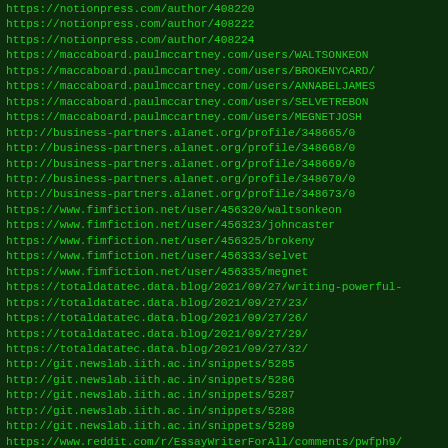https://notionpress.com/author/408220
https://notionpress.com/author/408222
https://notionpress.com/author/408224
https://maccaboard.paulmccartney.com/users/WALTSONKEON
https://maccaboard.paulmccartney.com/users/BROKENYCARD/
https://maccaboard.paulmccartney.com/users/ANNABELJAMES
https://maccaboard.paulmccartney.com/users/SELVETREBON
https://maccaboard.paulmccartney.com/users/MEGNETJOSH
http://business-partners.alanet.org/profile/348665/0
http://business-partners.alanet.org/profile/348668/0
http://business-partners.alanet.org/profile/348669/0
http://business-partners.alanet.org/profile/348670/0
http://business-partners.alanet.org/profile/348673/0
https://www.fimfiction.net/user/456320/waltsonkeon
https://www.fimfiction.net/user/456323/johncaster
https://www.fimfiction.net/user/456325/brokeny
https://www.fimfiction.net/user/456333/selvet
https://www.fimfiction.net/user/456335/megnet
https://totaldatatec.data.blog/2021/09/27/writing-powerful-
https://totaldatatec.data.blog/2021/09/27/23/
https://totaldatatec.data.blog/2021/09/27/26/
https://totaldatatec.data.blog/2021/09/27/29/
https://totaldatatec.data.blog/2021/09/27/32/
http://git.newslab.iith.ac.in/snippets/5285
http://git.newslab.iith.ac.in/snippets/5286
http://git.newslab.iith.ac.in/snippets/5287
http://git.newslab.iith.ac.in/snippets/5288
http://git.newslab.iith.ac.in/snippets/5289
https://www.reddit.com/r/EssayWriterForAll/comments/pwfph9/